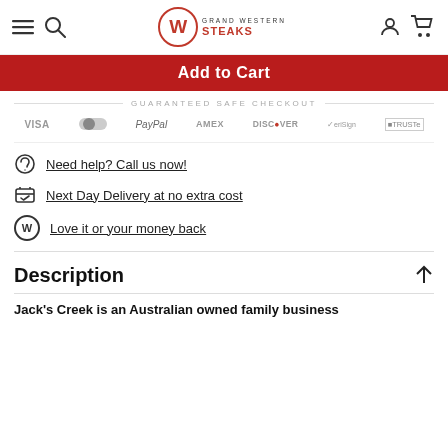Grand Western Steaks – site header with navigation icons
Add to Cart
GUARANTEED SAFE CHECKOUT
[Figure (logo): Payment method logos: VISA, Mastercard, PayPal, AMEX, DISCOVER, VeriSign, TRUSTe]
Need help? Call us now!
Next Day Delivery at no extra cost
Love it or your money back
Description
Jack's Creek is an Australian owned family business